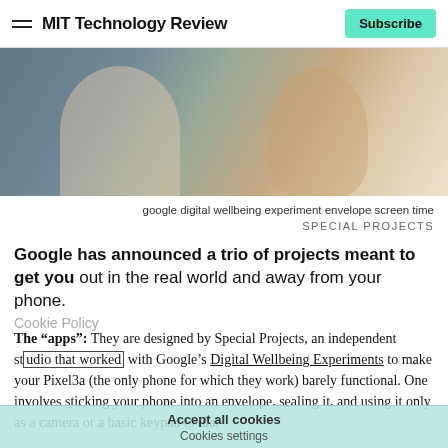MIT Technology Review | Subscribe
[Figure (photo): Close-up of a person with long brown hair touching a grey surface with their hand, viewed from behind/side, wearing a white top.]
google digital wellbeing experiment envelope screen time
SPECIAL PROJECTS
Google has announced a trio of projects meant to get you out in the real world and away from your phone.
Cookie Policy
The “apps”: They are designed by Special Projects, an independent studio that worked with Google’s Digital Wellbeing Experiments to make your Pixel3a (the only phone for which they work) barely functional. One involves sticking your phone into an envelope, sealing it, and using it only as a camera or a basic keypad to dial
Accept all cookies
Cookies settings